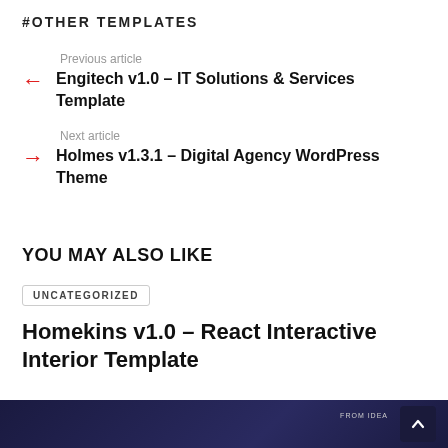#OTHER TEMPLATES
Previous article
Engitech v1.0 – IT Solutions & Services Template
Next article
Holmes v1.3.1 – Digital Agency WordPress Theme
YOU MAY ALSO LIKE
UNCATEGORIZED
Homekins v1.0 – React Interactive Interior Template
[Figure (screenshot): Dark blue website screenshot thumbnail at the bottom of the page]